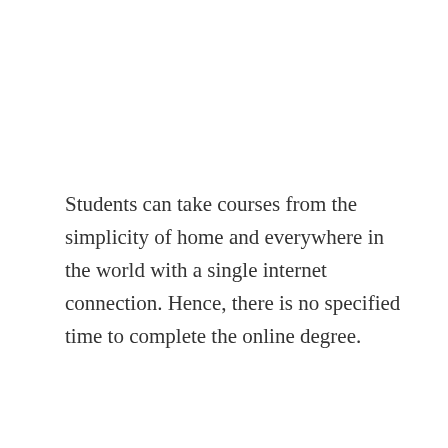Students can take courses from the simplicity of home and everywhere in the world with a single internet connection. Hence, there is no specified time to complete the online degree.
Canadian studio Revery Architecture has completed an opera home in Hong Kong's western Kowloon Cultural
Privacy & Cookies: This site uses cookies. By continuing to use this website, you agree to their use.
To find out more, including how to control cookies, see here: Cookie Policy
Close and accept